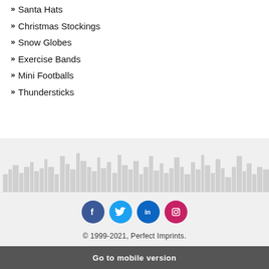Santa Hats
Christmas Stockings
Snow Globes
Exercise Bands
Mini Footballs
Thundersticks
[Figure (illustration): Light gray cityscape silhouette banner across the footer area]
[Figure (infographic): Social media icons: Facebook (dark blue), Twitter (light blue), LinkedIn (dark blue), Instagram (pink/red)]
© 1999-2021, Perfect Imprints.
Go to mobile version